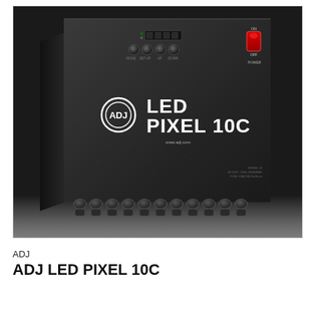[Figure (photo): Product photo of ADJ LED PIXEL 10C lighting controller. A dark grey/black rectangular device shown at a slight angle, with a digital LED display, four push buttons labeled MODE, SET UP, UP, DOWN, a red power switch labeled POWER, the ADJ logo and product name 'LED PIXEL 10C' on the front panel, and multiple connector ports along the bottom edge.]
ADJ
ADJ LED PIXEL 10C